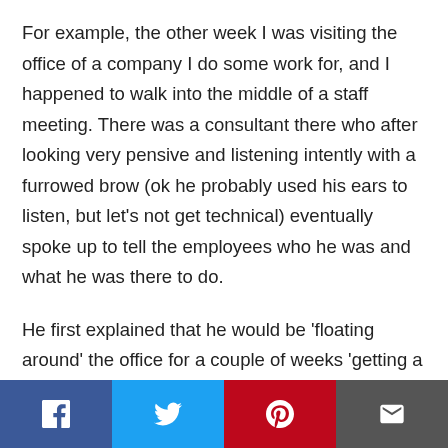For example, the other week I was visiting the office of a company I do some work for, and I happened to walk into the middle of a staff meeting. There was a consultant there who after looking very pensive and listening intently with a furrowed brow (ok he probably used his ears to listen, but let’s not get technical) eventually spoke up to tell the employees who he was and what he was there to do.
He first explained that he would be ‘floating around’ the office for a couple of weeks ‘getting a feel for the place’. Ok makes sense so far but as a fellow human being I knew straight away that this was an awesome way to
Facebook | Twitter | Pinterest | Email